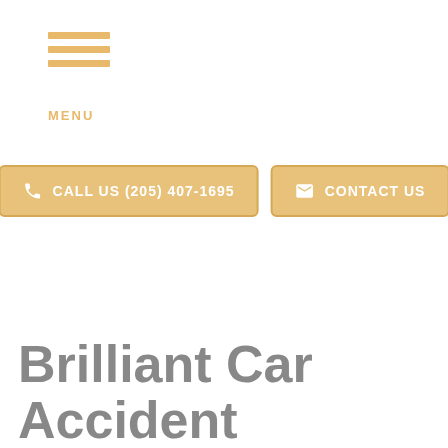MENU
CALL US (205) 407-1695
CONTACT US
Brilliant Car Accident